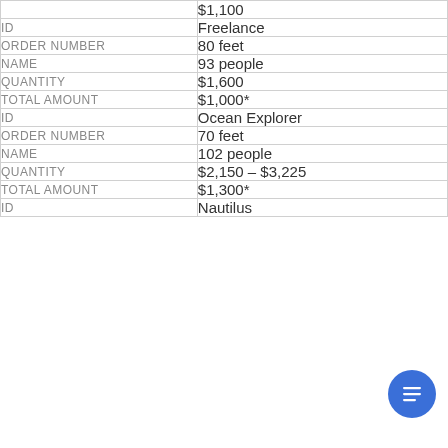| Field | Value |
| --- | --- |
| ID | Freelance |
| ORDER NUMBER | 80 feet |
| NAME | 93 people |
| QUANTITY | $1,600 |
| TOTAL AMOUNT | $1,000* |
| ID | Ocean Explorer |
| ORDER NUMBER | 70 feet |
| NAME | 102 people |
| QUANTITY | $2,150 – $3,225 |
| TOTAL AMOUNT | $1,300* |
| ID | Nautilus |